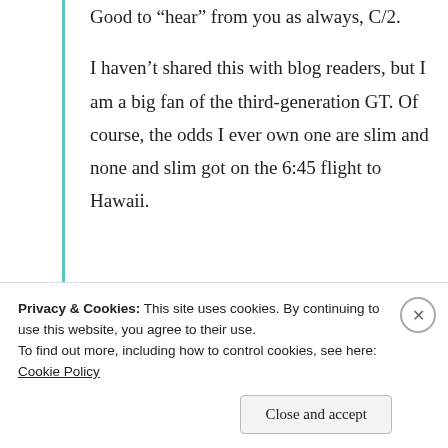Good to "hear" from you as always, C/2.

I haven't shared this with blog readers, but I am a big fan of the third-generation GT. Of course, the odds I ever own one are slim and none and slim got on the 6:45 flight to Hawaii.
★ Like
Advertisements
[Figure (other): WordPress Hosting That Means Business advertisement banner with a P logo and an OPEN sign photo]
Privacy & Cookies: This site uses cookies. By continuing to use this website, you agree to their use.
To find out more, including how to control cookies, see here: Cookie Policy
Close and accept